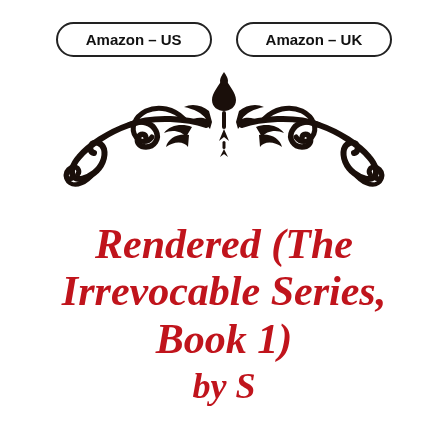[Figure (other): Two pill-shaped buttons with bold text: 'Amazon – US' and 'Amazon – UK']
[Figure (illustration): Decorative ornamental divider — dark brown symmetrical floral/scroll flourish design]
Rendered (The Irrevocable Series, Book 1)
by S...